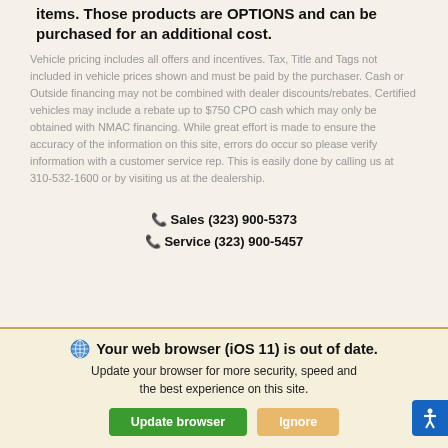items. Those products are OPTIONS and can be purchased for an additional cost.
Vehicle pricing includes all offers and incentives. Tax, Title and Tags not included in vehicle prices shown and must be paid by the purchaser. Cash or Outside financing may not be combined with dealer discounts/rebates. Certified vehicles may include a rebate up to $750 CPO cash which may only be obtained with NMAC financing. While great effort is made to ensure the accuracy of the information on this site, errors do occur so please verify information with a customer service rep. This is easily done by calling us at 310-532-1600 or by visiting us at the dealership.
Sales (323) 900-5373
Service (323) 900-5457
Your web browser (iOS 11) is out of date. Update your browser for more security, speed and the best experience on this site.